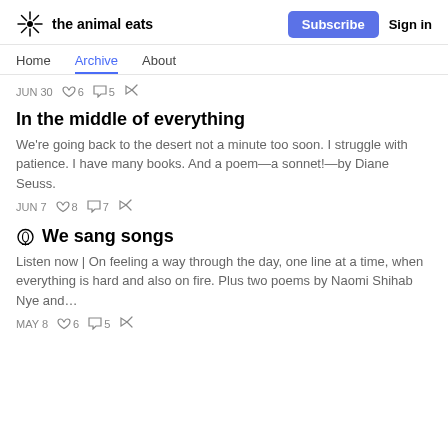the animal eats | Subscribe | Sign in
Home   Archive   About
JUN 30  ♡ 6  💬 5  ↗
In the middle of everything
We're going back to the desert not a minute too soon. I struggle with patience. I have many books. And a poem—a sonnet!—by Diane Seuss.
JUN 7  ♡ 8  💬 7  ↗
🎧 We sang songs
Listen now | On feeling a way through the day, one line at a time, when everything is hard and also on fire. Plus two poems by Naomi Shihab Nye and…
MAY 8  ♡ 6  💬 5  ↗